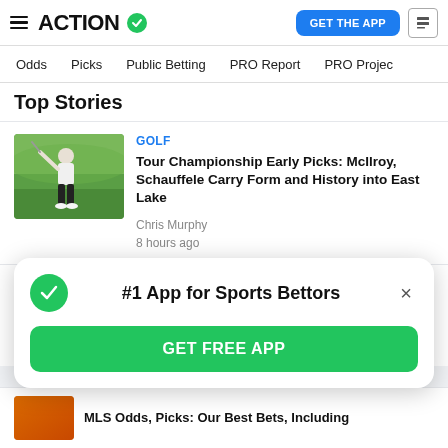ACTION (logo with checkmark) | GET THE APP | news icon
Odds | Picks | Public Betting | PRO Report | PRO Project
Top Stories
[Figure (photo): Golfer mid-swing on a green golf course]
GOLF
Tour Championship Early Picks: McIlroy, Schauffele Carry Form and History into East Lake
Chris Murphy
8 hours ago
[Figure (photo): Baseball pitcher in blue uniform]
MLB
White Sox vs. Royals: Back Konech, Lynch to
#1 App for Sports Bettors
GET FREE APP
MLS Odds, Picks: Our Best Bets, Including